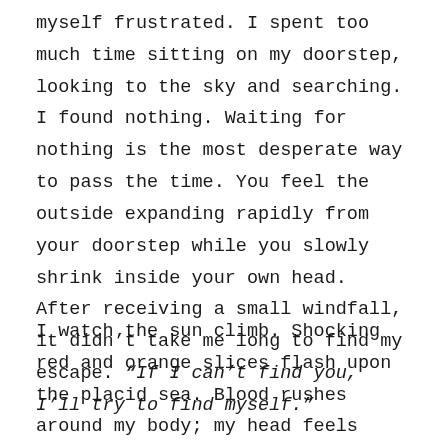myself frustrated. I spent too much time sitting on my doorstep, looking to the sky and searching. I found nothing. Waiting for nothing is the most desperate way to pass the time. You feel the outside expanding rapidly from your doorstep while you slowly shrink inside your own head. After receiving a small windfall, it didn't take me long to find my escape. “If I can’t find you, I’ll try to find myself.”
I watch the sun climb. Shocking red and orange slices flash upon the placid sea. Blood rushes around my body; my head feels light and my skin tingles. I want to grab